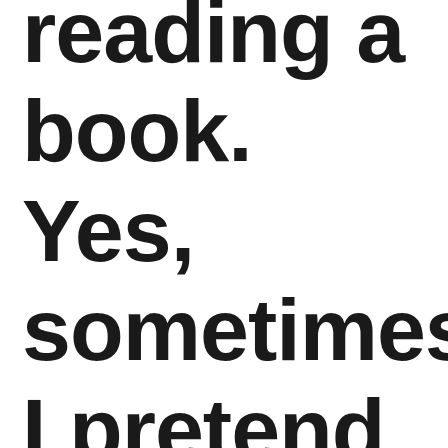reading a book. Yes, sometimes I pretend to be sophisticate